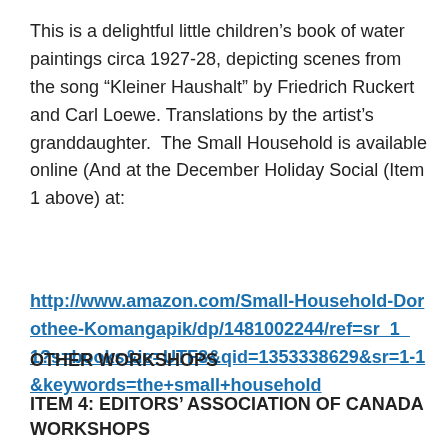This is a delightful little children's book of water paintings circa 1927-28, depicting scenes from the song “Kleiner Haushalt” by Friedrich Ruckert and Carl Loewe. Translations by the artist’s granddaughter.  The Small Household is available online (And at the December Holiday Social (Item 1 above) at:
http://www.amazon.com/Small-Household-Dorothee-Komangapik/dp/1481002244/ref=sr_1_1?s=books&ie=UTF8&qid=1353338629&sr=1-1&keywords=the+small+household
OTHER WORKSHOPS
ITEM 4: EDITORS’ ASSOCIATION OF CANADA WORKSHOPS